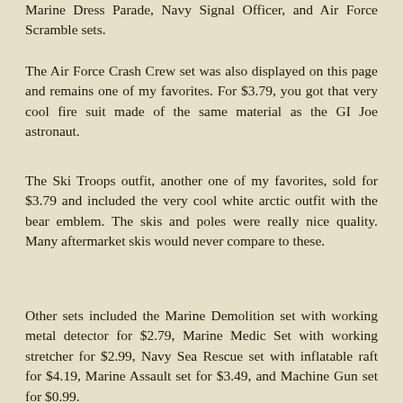Marine Dress Parade, Navy Signal Officer, and Air Force Scramble sets.
The Air Force Crash Crew set was also displayed on this page and remains one of my favorites. For $3.79, you got that very cool fire suit made of the same material as the GI Joe astronaut.
The Ski Troops outfit, another one of my favorites, sold for $3.79 and included the very cool white arctic outfit with the bear emblem. The skis and poles were really nice quality. Many aftermarket skis would never compare to these.
Other sets included the Marine Demolition set with working metal detector for $2.79, Marine Medic Set with working stretcher for $2.99, Navy Sea Rescue set with inflatable raft for $4.19, Marine Assault set for $3.49, and Machine Gun set for $0.99.